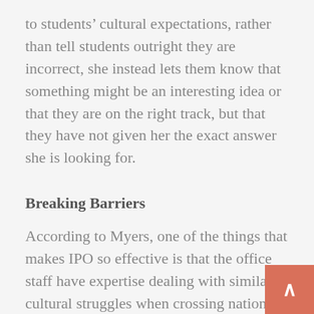to students' cultural expectations, rather than tell students outright they are incorrect, she instead lets them know that something might be an interesting idea or that they are on the right track, but that they have not given her the exact answer she is looking for.
Breaking Barriers
According to Myers, one of the things that makes IPO so effective is that the office staff have expertise dealing with similar cultural struggles when crossing national boundaries.
“Most of the people in the office have lived in a different country at one point or another,” Myers says. “We have that sense of being like the outsider and trying to